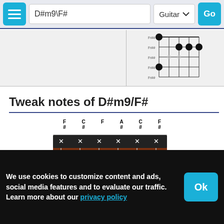D#m9\F# | Guitar | Go
[Figure (other): Partial guitar chord diagram showing fret positions with filled black dots on strings]
Tweak notes of D#m9/F#
[Figure (other): Interactive guitar fretboard/neck diagram with string labels F#, C#, F, A#, C#, F# and colored dot markers (white and blue) showing note positions across multiple frets]
We use cookies to customize content and ads, social media features and to evaluate our traffic.
Learn more about our privacy policy